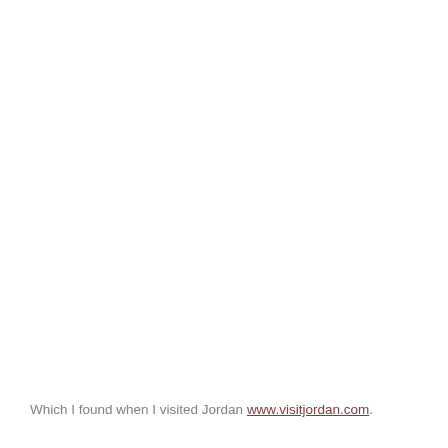Which I found when I visited Jordan www.visitjordan.com.